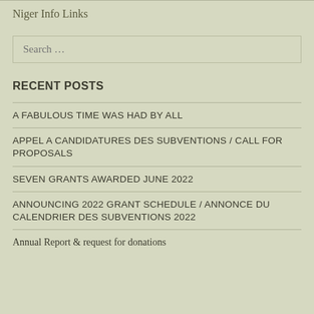Niger Info Links
Search …
RECENT POSTS
A FABULOUS TIME WAS HAD BY ALL
APPEL A CANDIDATURES DES SUBVENTIONS / CALL FOR PROPOSALS
SEVEN GRANTS AWARDED JUNE 2022
ANNOUNCING 2022 GRANT SCHEDULE / ANNONCE DU CALENDRIER DES SUBVENTIONS 2022
Annual Report & request for donations